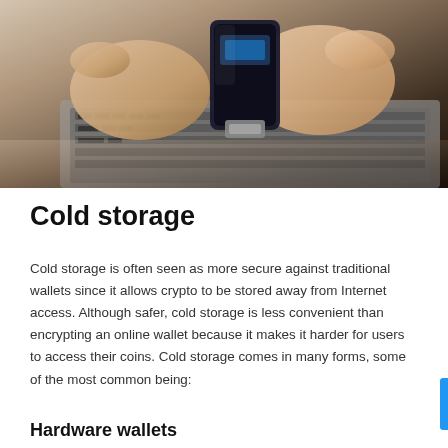[Figure (photo): Hands holding a small hardware wallet (USB-like device) over a laptop keyboard, showing a person interacting with a cryptocurrency cold storage hardware device.]
Cold storage
Cold storage is often seen as more secure against traditional wallets since it allows crypto to be stored away from Internet access. Although safer, cold storage is less convenient than encrypting an online wallet because it makes it harder for users to access their coins. Cold storage comes in many forms, some of the most common being:
Hardware wallets